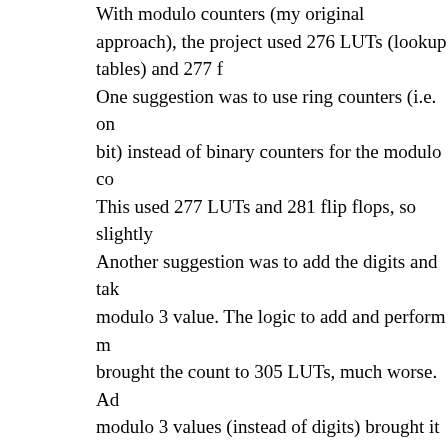With modulo counters (my original approach), the project used 276 LUTs (lookup tables) and 277 flip flops. One suggestion was to use ring counters (i.e. one-hot, one bit) instead of binary counters for the modulo counters. This used 277 LUTs and 281 flip flops, so slightly worse. Another suggestion was to add the digits and take the modulo 3 value. The logic to add and perform modulo brought the count to 305 LUTs, much worse. Adding the modulo 3 values (instead of digits) brought it down to 289 LUTs, still worse. ↩
8. The big floating words are essentially sprites—bitmaps that can be arbitrarily positioned on the screen. Sprites were popular with video games and computers in the late 1970s and early 1980s such as Pacman, Atari and Commodore 64. Sprites let slow processors perform animation; instead of moving all the pixels around in memory, the processor would just update the sprite coordinates. The top-level code (source) ties together the pieces and combines everything onto the screen: the text, the rainbow trail, the giant "Fizz" (in a rainbow pattern) and the giant "Buzz" (in red).